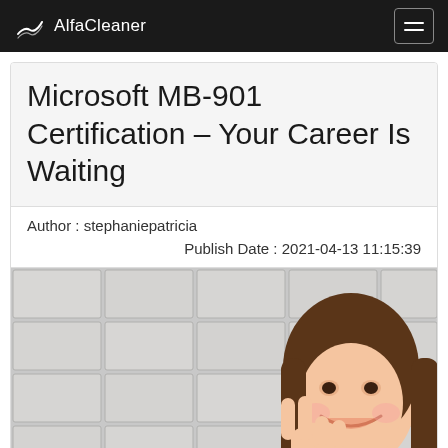AlfaCleaner
Microsoft MB-901 Certification – Your Career Is Waiting
Author : stephaniepatricia
Publish Date : 2021-04-13 11:15:39
[Figure (photo): A young smiling woman making a peace sign with her fingers, standing in front of a white tile wall background.]